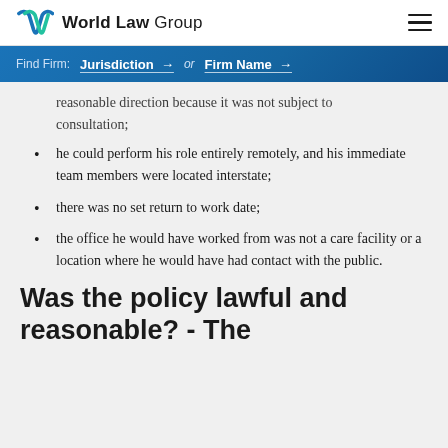World Law Group
Find Firm: Jurisdiction → or Firm Name →
reasonable direction because it was not subject to consultation;
he could perform his role entirely remotely, and his immediate team members were located interstate;
there was no set return to work date;
the office he would have worked from was not a care facility or a location where he would have had contact with the public.
Was the policy lawful and reasonable? - The